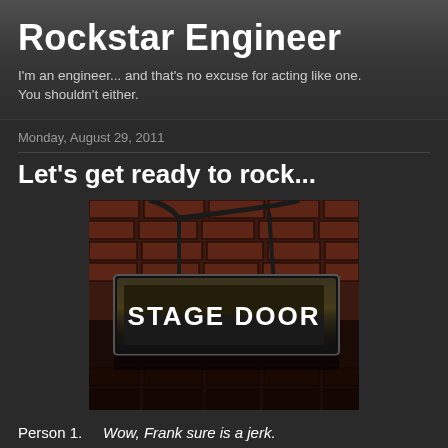Rockstar Engineer
I'm an engineer... and that's no excuse for acting like one. You shouldn't either.
Monday, August 29, 2011
Let's get ready to rock...
[Figure (photo): A 'STAGE DOOR' illuminated sign mounted on a brick wall, black rectangular sign with white bold text reading STAGE DOOR]
Person 1.    Wow, Frank sure is a jerk.